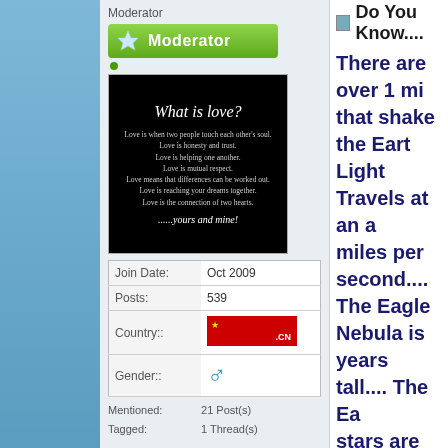Moderator
[Figure (illustration): Green Moderator badge with star icon]
[Figure (illustration): Avatar image with black background: 'What is love?' with text about love's meaning, ending with '......yours and mine!']
| Join Date: | Oct 2009 |
| Posts: | 539 |
| Country:: | CN flag image |
| Gender:: | Male symbol |
Mentioned: 21 Post(s)
Tagged: 1 Thread(s)
Do You Know....
There are over 1 mi that shake the Eart Light Travels at an miles per second.... The Eagle Nebula is years tall.... The Ea stars are formed.... Andromeda is our n would take 2 millio on our fastest spac The human eye can different shades of It is impossible to t because your brain it before you even t it....... The world's first tes Stephen and Aman June 1981..... The oldest know